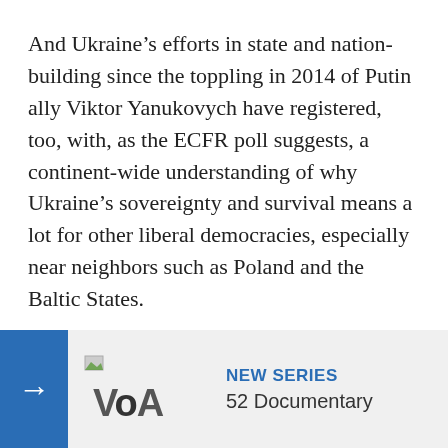And Ukraine's efforts in state and nation-building since the toppling in 2014 of Putin ally Viktor Yanukovych have registered, too, with, as the ECFR poll suggests, a continent-wide understanding of why Ukraine's sovereignty and survival means a lot for other liberal democracies, especially near neighbors such as Poland and the Baltic States.
Buffer state
For Poland, which is home to around a million Ukrainians, mainly economic migrants, Ukraine matters as a buffer state which, as long as it survives, keeps Russia further away by nearly another 1,000 kil... Poland was the first country to reco... independence ... counterparts i...
[Figure (other): Overlay banner showing a blue arrow button on the left, a VOA (Voice of America) logo in the center, and 'NEW SERIES / 52 Documentary' text on the right, on a light grey background.]